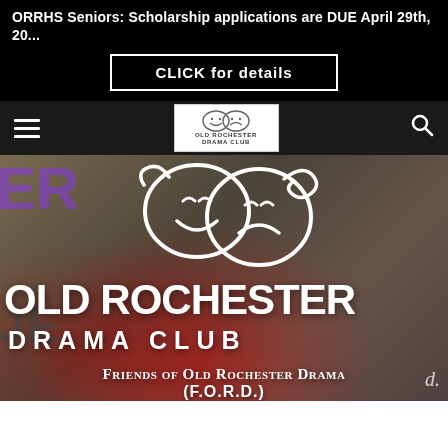ORRHS Seniors: Scholarship applications are DUE April 29th, 20...
CLICK for details
[Figure (logo): Old Rochester Drama Club logo showing comedy/tragedy theater masks with text OLD ROCHESTER DRAMA CLUB]
[Figure (illustration): Hero image with mural background, large white comedy and tragedy theater masks, text OLD ROCHESTER in large white bold letters, DRAMA CLUB in spaced white letters, Friends of Old Rochester Drama subtitle, and (F.O.R.D.) below]
OLD ROCHESTER
DRAMA CLUB
Friends of Old Rochester Drama
(F.O.R.D.)